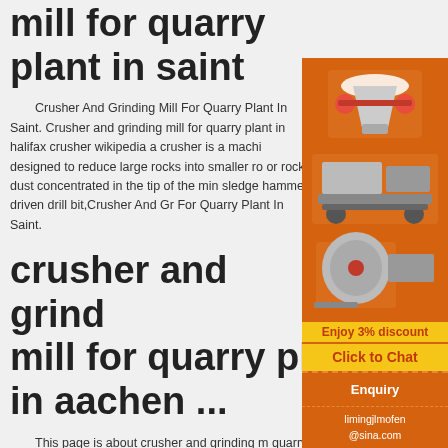mill for quarry plant in saint
Crusher And Grinding Mill For Quarry Plant In Saint. Crusher and grinding mill for quarry plant in halifax crusher wikipedia a crusher is a machine designed to reduce large rocks into smaller rocks or rock dust concentrated in the tip of the mine sledge hammer driven drill bit,Crusher And Grinding Mill For Quarry Plant In Saint.
crusher and grinding mill for quarry plant in aachen ...
[Figure (infographic): Orange advertisement panel with images of mining/crushing machinery (cone crusher, mobile crusher, ball mill), a yellow bar reading 'Enjoy 3% discount', a yellow button 'Click to Chat', an enquiry section, and email limingjlmofen@sina.com]
This page is about crusher and grinding mill for quarry plant in aachen nordrhein westfalen germany, click here to get more infomation about crusher and